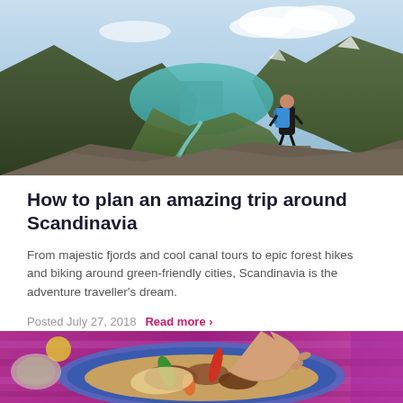[Figure (photo): Person with blue backpack standing on a rocky overlook viewing a dramatic Norwegian fjord valley with turquoise water, winding river, and green mountains]
How to plan an amazing trip around Scandinavia
From majestic fjords and cool canal tours to epic forest hikes and biking around green-friendly cities, Scandinavia is the adventure traveller's dream.
Posted July 27, 2018   Read more ›
[Figure (photo): Close-up of a hand reaching into a colorful dish of food with peppers and other ingredients, on a vibrant purple/pink tablecloth]